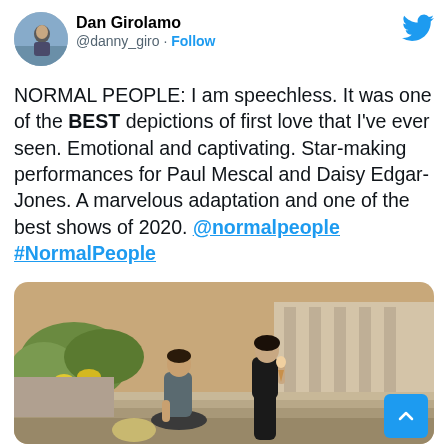[Figure (photo): Twitter/X user profile avatar showing a man outdoors]
Dan Girolamo
@danny_giro · Follow
[Figure (logo): Twitter bird logo in blue]
NORMAL PEOPLE: I am speechless. It was one of the BEST depictions of first love that I've ever seen. Emotional and captivating. Star-making performances for Paul Mescal and Daisy Edgar-Jones. A marvelous adaptation and one of the best shows of 2020. @normalpeople #NormalPeople
[Figure (photo): Scene from Normal People showing a young man and woman sitting on outdoor stone steps in warm light]